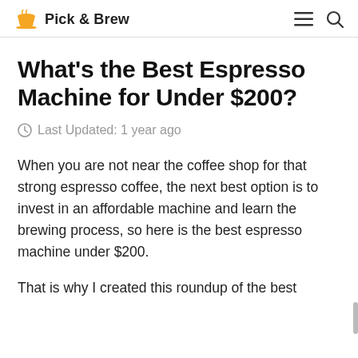Pick & Brew
What's the Best Espresso Machine for Under $200?
Last Updated: 1 year ago
When you are not near the coffee shop for that strong espresso coffee, the next best option is to invest in an affordable machine and learn the brewing process, so here is the best espresso machine under $200.
That is why I created this roundup of the best